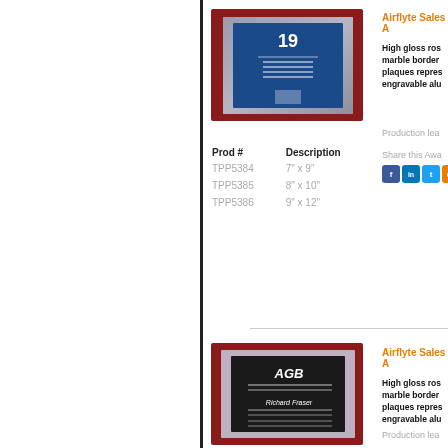[Figure (photo): Award plaque with rosewood finish and marble border containing a blue insert with award text and DNA imagery]
Airflyte Sales A
High gloss ros marble border plaques repres engravable alu
Production lea
Share this Awa
| Prod # | Description |
| --- | --- |
| TPP5384 | 7" x 9" |
| TPP5385 | 8" x 10" |
| TPP5386 | 9" x 12" |
[Figure (photo): Award plaque with rosewood finish and marble border containing a dark insert with AGB logo and engraved text for Richard Fraser]
Airflyte Sales A
High gloss ros marble border plaques repres engravable alu
Production lea
Share this Awa